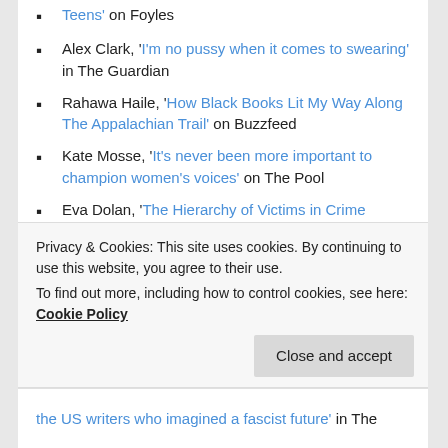'Teens' on Foyles (partial, top of page)
Alex Clark, 'I'm no pussy when it comes to swearing' in The Guardian
Rahawa Haile, 'How Black Books Lit My Way Along The Appalachian Trail' on Buzzfeed
Kate Mosse, 'It's never been more important to champion women's voices' on The Pool
Eva Dolan, 'The Hierarchy of Victims in Crime Writing' on Foyles
Roxane Gay, 'The Full Text of 'Bad Feminist' Author Roxane Gay's WI12 Speech' on Publishers Weekly
Claire Fuller, 'on the Isle of Purbeck, Dorset' on The Literary Sofa
Scott Eposito, 'Understanding America Through (partial)
Privacy & Cookies: This site uses cookies. By continuing to use this website, you agree to their use.
To find out more, including how to control cookies, see here: Cookie Policy
the US writers who imagined a fascist future' in The (partial, bottom)